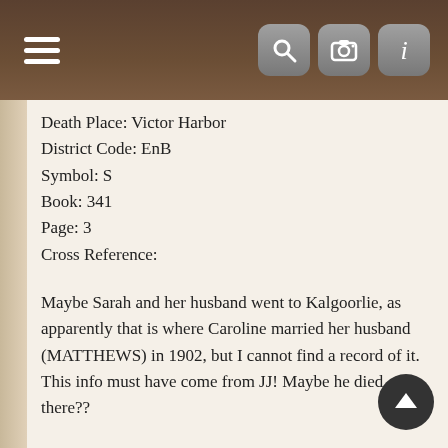Navigation bar with hamburger menu and search/camera/info icons
Death Place: Victor Harbor
District Code: EnB
Symbol: S
Book: 341
Page: 3
Cross Reference:
Maybe Sarah and her husband went to Kalgoorlie, as apparently that is where Caroline married her husband (MATTHEWS) in 1902, but I cannot find a record of it. This info must have come from JJ! Maybe he died there??
ANYWAY, to cut a long story short, I got a reply from Supreme Court of WA saying they have no probate details on George Francis WILLOWS, Sarah and Caroline's father. So I thought I would put in a search on both Sarah BIRD and Caroline MATTHEWS as I have deduced that both of the were surviving widows at the time of their deaths and that their wills might give up some info on who was who or what.